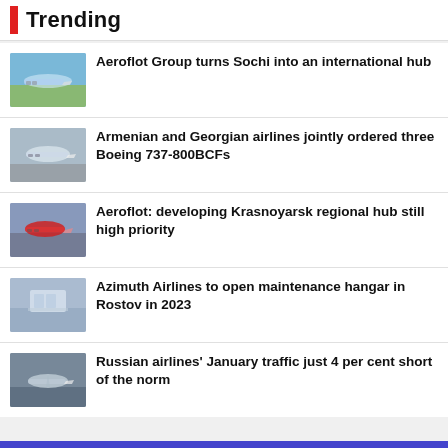Trending
Aeroflot Group turns Sochi into an international hub
Armenian and Georgian airlines jointly ordered three Boeing 737-800BCFs
Aeroflot: developing Krasnoyarsk regional hub still high priority
Azimuth Airlines to open maintenance hangar in Rostov in 2023
Russian airlines' January traffic just 4 per cent short of the norm